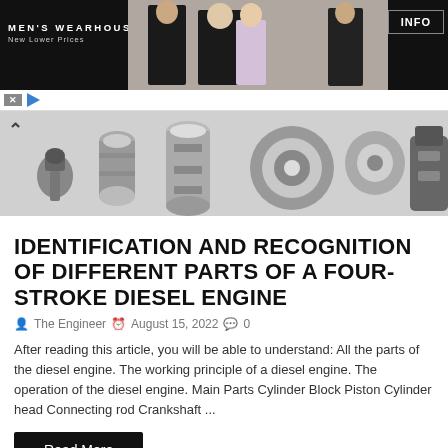[Figure (photo): Men's Wearhouse advertisement banner with dark background showing logo on left and couple in formal wear in center]
[Figure (photo): Horizontal strip showing various metal engine/mechanical parts including pistons, cylinders, bearings and bolts on gray background]
IDENTIFICATION AND RECOGNITION OF DIFFERENT PARTS OF A FOUR-STROKE DIESEL ENGINE
The Engineer  August 15, 2022  0
After reading this article, you will be able to understand: All the parts of the diesel engine. The working principle of a diesel engine. The operation of the diesel engine. Main Parts Cylinder Block Piston Cylinder head Connecting rod Crankshaft ...
Read More